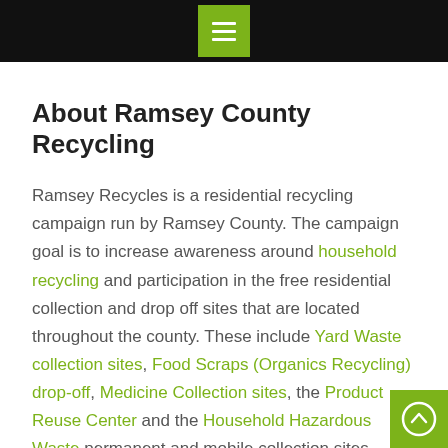Menu navigation bar with hamburger icon
About Ramsey County Recycling
Ramsey Recycles is a residential recycling campaign run by Ramsey County. The campaign goal is to increase awareness around household recycling and participation in the free residential collection and drop off sites that are located throughout the county. These include Yard Waste collection sites, Food Scraps (Organics Recycling) drop-off, Medicine Collection sites, the Product Reuse Center and the Household Hazardous Waste permanent and mobile collection sites.